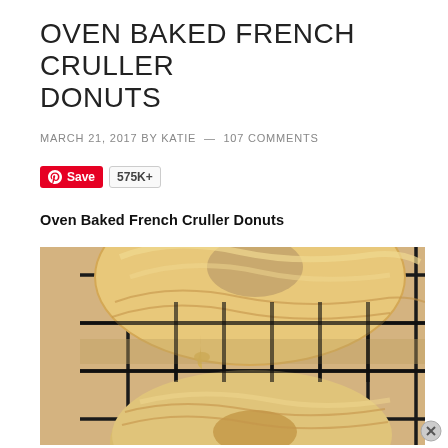OVEN BAKED FRENCH CRULLER DONUTS
MARCH 21, 2017 BY KATIE — 107 COMMENTS
[Figure (other): Pinterest Save button with 575K+ count]
Oven Baked French Cruller Donuts
[Figure (photo): Close-up photo of glazed French cruller donuts resting on a black wire cooling rack, showing the swirled ring shape with golden glaze dripping down]